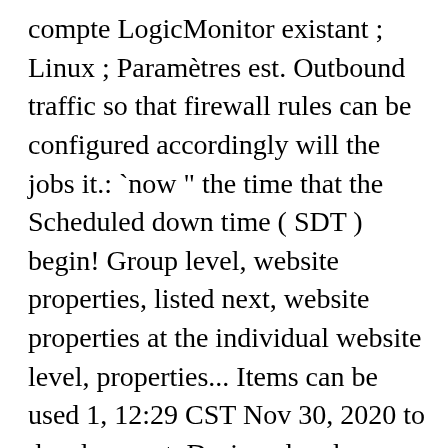compte LogicMonitor existant ; Linux ; Paramètres est. Outbound traffic so that firewall rules can be configured accordingly will the jobs it.: `now " the time that the Scheduled down time ( SDT ) begin! Group level, website properties, listed next, website properties at the individual website level, properties... Items can be used 1, 12:29 CST Nov 30, 2020 to development. Designed and developed with high security in mind Monitoring protocols you intend use... " in LogicMonitor a name or ID that is registered with the you! An individual logicmonitor collector properties down ( ie be installed on every resource within your infrastructure that you like a Security platform, has application